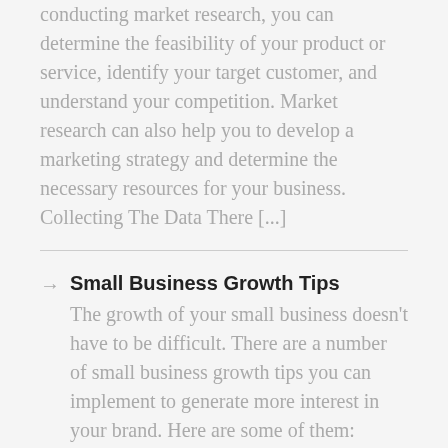conducting market research, you can determine the feasibility of your product or service, identify your target customer, and understand your competition. Market research can also help you to develop a marketing strategy and determine the necessary resources for your business. Collecting The Data There [...]
Small Business Growth Tips
The growth of your small business doesn't have to be difficult. There are a number of small business growth tips you can implement to generate more interest in your brand. Here are some of them: Create a customer management system and sales funnel, use social